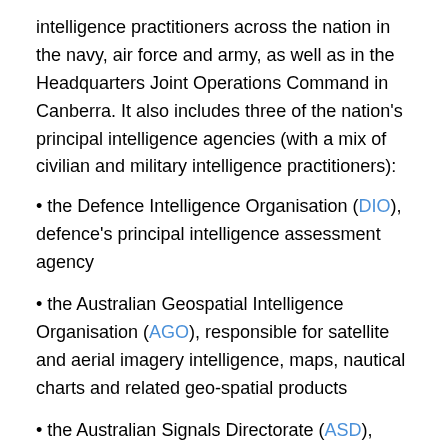intelligence practitioners across the nation in the navy, air force and army, as well as in the Headquarters Joint Operations Command in Canberra. It also includes three of the nation's principal intelligence agencies (with a mix of civilian and military intelligence practitioners):
• the Defence Intelligence Organisation (DIO), defence's principal intelligence assessment agency
• the Australian Geospatial Intelligence Organisation (AGO), responsible for satellite and aerial imagery intelligence, maps, nautical charts and related geo-spatial products
• the Australian Signals Directorate (ASD), responsible for the collection and processing of signals intelligence (essentially, eavesdropping on radio and electronic